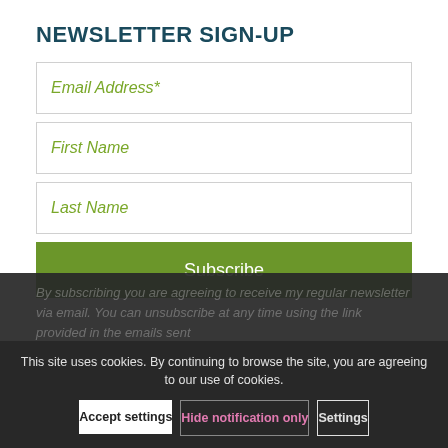NEWSLETTER SIGN-UP
Email Address*
First Name
Last Name
Subscribe
By subscribing you are agreeing to receive my regular newsletter via email. You can unsubscribe at any time using the link provided in the emails sent
This site uses cookies. By continuing to browse the site, you are agreeing to our use of cookies.
Accept settings
Hide notification only
Settings